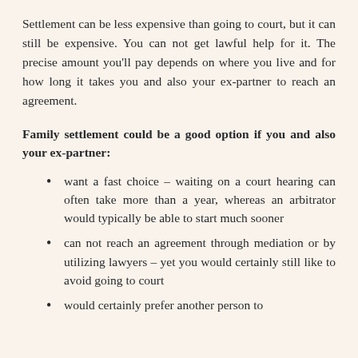Settlement can be less expensive than going to court, but it can still be expensive. You can not get lawful help for it. The precise amount you'll pay depends on where you live and for how long it takes you and also your ex-partner to reach an agreement.
Family settlement could be a good option if you and also your ex-partner:
want a fast choice – waiting on a court hearing can often take more than a year, whereas an arbitrator would typically be able to start much sooner
can not reach an agreement through mediation or by utilizing lawyers – yet you would certainly still like to avoid going to court
would certainly prefer another person to